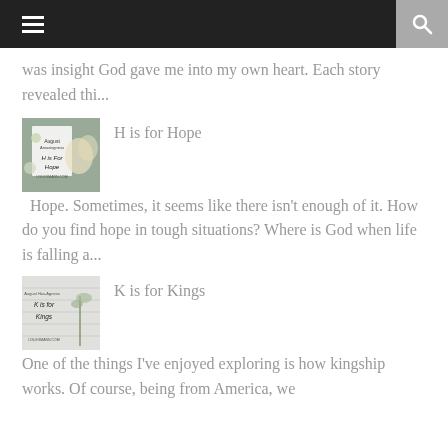☰  🔍
was insight God gave me into my own heart. Each story revealed thi...
H is for Hope
[Figure (photo): Book cover image for 'H is for Hope' with flowers]
Hope. Sometimes, it seems like there isn't enough of it. How do you find hope in tough situations? Where is God when life is falling a...
K is for Kings
[Figure (photo): Book cover image for 'K is for Kings' with plant]
One of the things I've enjoyed exploring is how kingship works. Of course, being from America, we